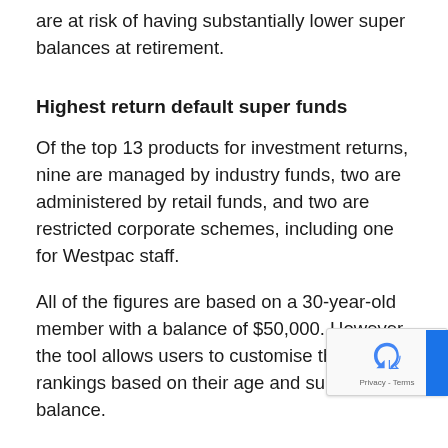are at risk of having substantially lower super balances at retirement.
Highest return default super funds
Of the top 13 products for investment returns, nine are managed by industry funds, two are administered by retail funds, and two are restricted corporate schemes, including one for Westpac staff.
All of the figures are based on a 30-year-old member with a balance of $50,000. However, the tool allows users to customise the rankings based on their age and super balance.
The best performing super funds by product achieving